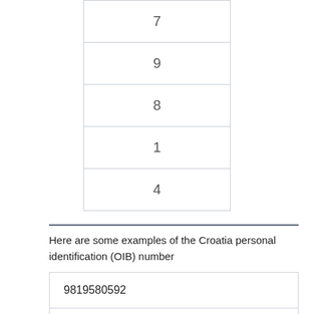| 7 |
| 9 |
| 8 |
| 1 |
| 4 |
Here are some examples of the Croatia personal identification (OIB) number
| 9819580592 |
| 86849310960 |